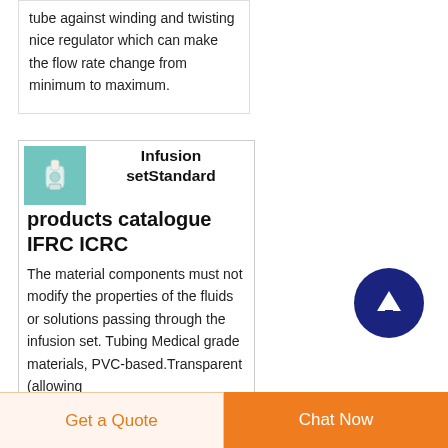tube against winding and twisting nice regulator which can make the flow rate change from minimum to maximum.
[Figure (photo): Product image of an infusion set connector/spike, teal/green colored medical device component]
Infusion setStandard products catalogue IFRC ICRC
The material components must not modify the properties of the fluids or solutions passing through the infusion set. Tubing Medical grade materials, PVC-based.Transparent (allowing
Get a Quote
Chat Now